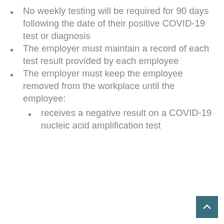No weekly testing will be required for 90 days following the date of their positive COVID-19 test or diagnosis
The employer must maintain a record of each test result provided by each employee
The employer must keep the employee removed from the workplace until the employee:
receives a negative result on a COVID-19 nucleic acid amplification test